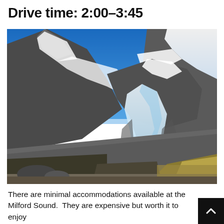Drive time: 2:00–3:45
[Figure (photo): Mountain landscape with a glacier flowing between rocky peaks under a clear blue sky, with golden-brown grassland in the foreground.]
There are minimal accommodations available at the Milford Sound.  They are expensive but worth it to enjoy